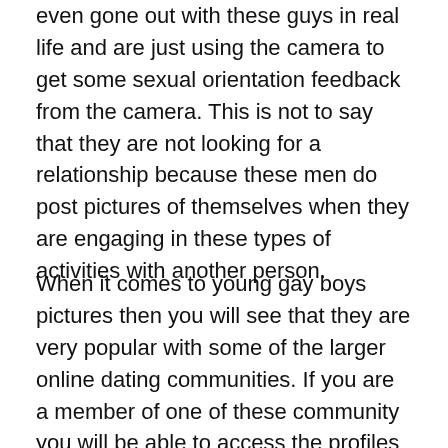even gone out with these guys in real life and are just using the camera to get some sexual orientation feedback from the camera. This is not to say that they are not looking for a relationship because these men do post pictures of themselves when they are engaging in these types of activities with another person.
When it comes to young gay boys pictures then you will see that they are very popular with some of the larger online dating communities. If you are a member of one of these community you will be able to access the profiles of anyone who is interested in the same sex as you. For example, if you want to find someone who is interested in